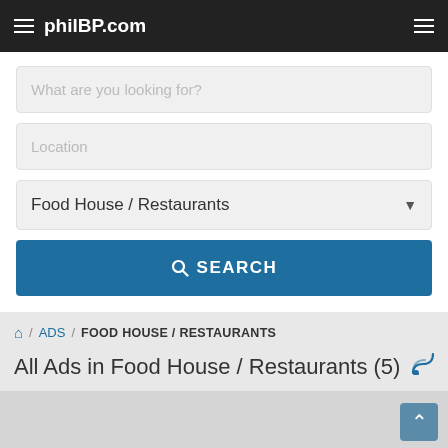philBP.com
What are you looking for?
Location
Food House / Restaurants
SEARCH
/ ADS / FOOD HOUSE / RESTAURANTS
All Ads in Food House / Restaurants (5)